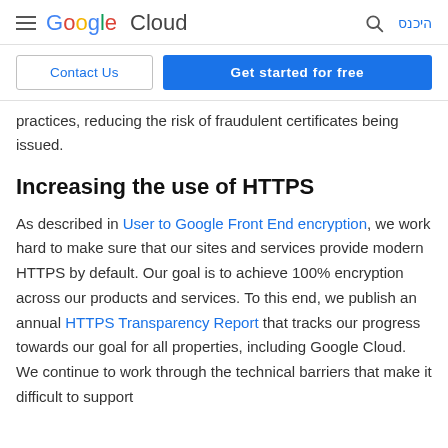Google Cloud  היכנס
Contact Us   Get started for free
practices, reducing the risk of fraudulent certificates being issued.
Increasing the use of HTTPS
As described in User to Google Front End encryption, we work hard to make sure that our sites and services provide modern HTTPS by default. Our goal is to achieve 100% encryption across our products and services. To this end, we publish an annual HTTPS Transparency Report that tracks our progress towards our goal for all properties, including Google Cloud. We continue to work through the technical barriers that make it difficult to support